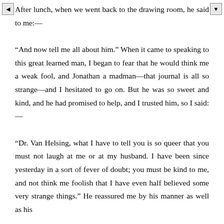After lunch, when we went back to the drawing room, he said to me:— "And now tell me all about him." When it came to speaking to this great learned man, I began to fear that he would think me a weak fool, and Jonathan a madman—that journal is all so strange—and I hesitated to go on. But he was so sweet and kind, and he had promised to help, and I trusted him, so I said:— "Dr. Van Helsing, what I have to tell you is so queer that you must not laugh at me or at my husband. I have been since yesterday in a sort of fever of doubt; you must be kind to me, and not think me foolish that I have even half believed some very strange things." He reassured me by his manner as well as his